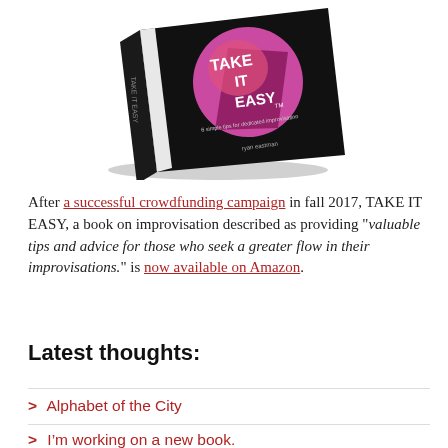[Figure (photo): A black book tilted at an angle with the title 'TAKE IT EASY' on the cover, featuring a pink and dark geometric design on a black background.]
After a successful crowdfunding campaign in fall 2017, TAKE IT EASY, a book on improvisation described as providing “valuable tips and advice for those who seek a greater flow in their improvisations.” is now available on Amazon.
Latest thoughts:
> Alphabet of the City
> I’m working on a new book.